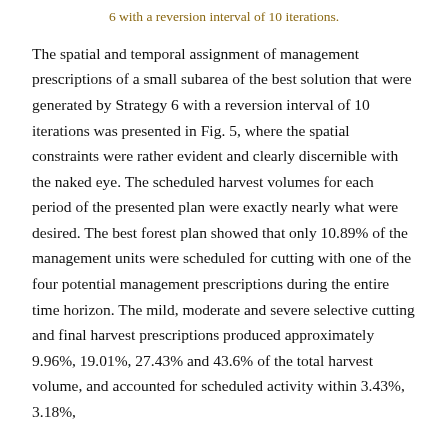6 with a reversion interval of 10 iterations.
The spatial and temporal assignment of management prescriptions of a small subarea of the best solution that were generated by Strategy 6 with a reversion interval of 10 iterations was presented in Fig. 5, where the spatial constraints were rather evident and clearly discernible with the naked eye. The scheduled harvest volumes for each period of the presented plan were exactly nearly what were desired. The best forest plan showed that only 10.89% of the management units were scheduled for cutting with one of the four potential management prescriptions during the entire time horizon. The mild, moderate and severe selective cutting and final harvest prescriptions produced approximately 9.96%, 19.01%, 27.43% and 43.6% of the total harvest volume, and accounted for scheduled activity within 3.43%, 3.18%,